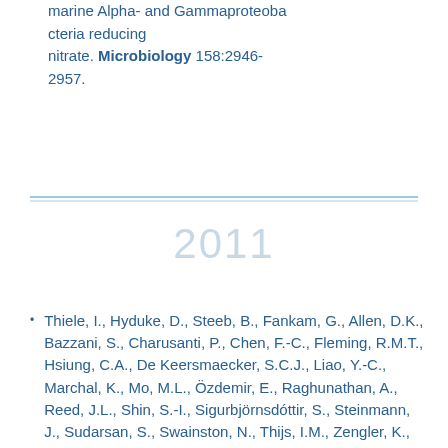marine Alpha- and Gammaproteobacteria reducing nitrate. Microbiology 158:2946-2957.
2011
Thiele, I., Hyduke, D., Steeb, B., Fankam, G., Allen, D.K., Bazzani, S., Charusanti, P., Chen, F.-C., Fleming, R.M.T., Hsiung, C.A., De Keersmaecker, S.C.J., Liao, Y.-C., Marchal, K., Mo, M.L., Özdemir, E., Raghunathan, A., Reed, J.L., Shin, S.-I., Sigurbjörnsdóttir, S., Steinmann, J., Sudarsan, S., Swainston, N., Thijs, I.M., Zengler, K., Palsson, B.O., Adkins, J.N., Bumann, D. A community effort towards a knowledge-base and mathematical model of the human